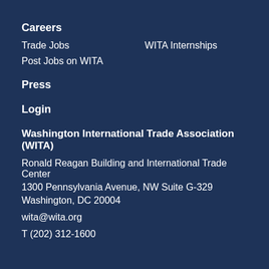Careers
Trade Jobs    WITA Internships
Post Jobs on WITA
Press
Login
Washington International Trade Association (WITA)
Ronald Reagan Building and International Trade Center
1300 Pennsylvania Avenue, NW Suite G-329
Washington, DC 20004
wita@wita.org
T (202) 312-1600